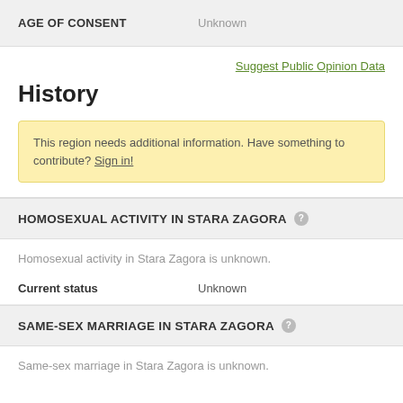| AGE OF CONSENT |  |
| --- | --- |
| AGE OF CONSENT | Unknown |
Suggest Public Opinion Data
History
This region needs additional information. Have something to contribute? Sign in!
HOMOSEXUAL ACTIVITY IN STARA ZAGORA
Homosexual activity in Stara Zagora is unknown.
| Current status |  |
| --- | --- |
| Current status | Unknown |
SAME-SEX MARRIAGE IN STARA ZAGORA
Same-sex marriage in Stara Zagora is unknown.